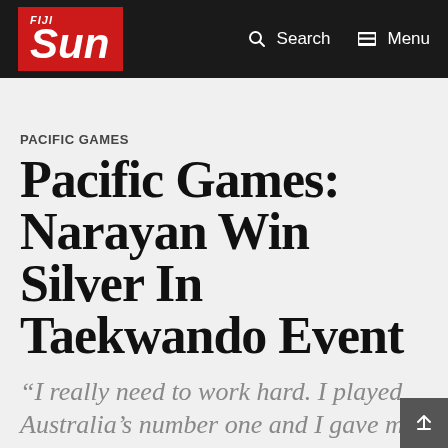FIJI Sun — Search | Menu
PACIFIC GAMES
Pacific Games: Narayan Win Silver In Taekwando Event
“I really need to work hard. I played Australia’s number one and I gave my 100 percent but this tournament has